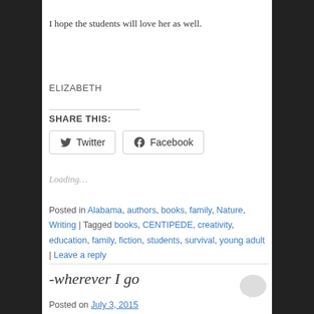I hope the students will love her as well.
ELIZABETH
SHARE THIS:
Loading...
Posted in Alabama, authors, books, family, Nature, Writing | Tagged books, CENTIPEDE, creativity, education, family, fiction, students, survival, young adult | Leave a reply
-wherever I go
Posted on July 3, 2015